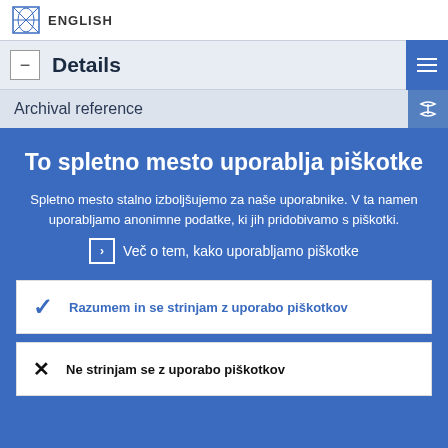ENGLISH
Details
Archival reference
To spletno mesto uporablja piškotke
Spletno mesto stalno izboljšujemo za naše uporabnike. V ta namen uporabljamo anonimne podatke, ki jih pridobivamo s piškotki.
Več o tem, kako uporabljamo piškotke
Razumem in se strinjam z uporabo piškotkov
Ne strinjam se z uporabo piškotkov